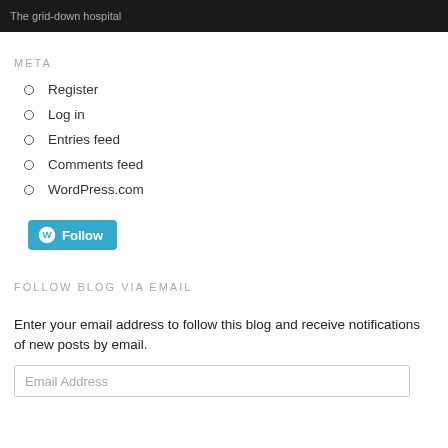The grid-down hospital
META
Register
Log in
Entries feed
Comments feed
WordPress.com
[Figure (other): WordPress Follow button]
FOLLOW BLOG VIA EMAIL
Enter your email address to follow this blog and receive notifications of new posts by email.
Email Address